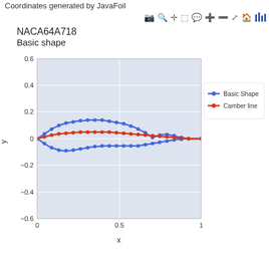Coordinates generated by JavaFoil
NACA64A718
Basic shape
[Figure (continuous-plot): NACA64A718 airfoil plot showing Basic Shape (blue dots) and Camber line (red dots). X-axis from 0 to 1, Y-axis from -0.6 to 0.6. The blue curve forms the full airfoil outline with upper surface peaking around y=0.13 at x~0.4 and lower surface dipping to y~-0.07. The red camber line runs along the middle from origin to trailing edge.]